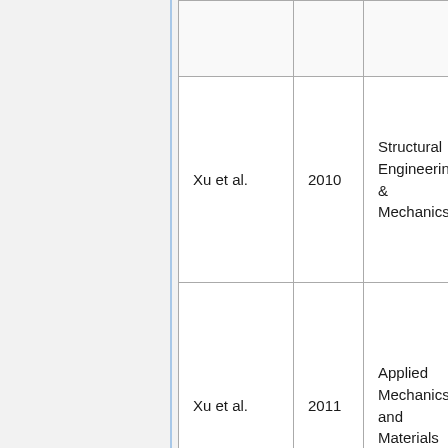| Author | Year | Journal |
| --- | --- | --- |
|  |  |  |
| Xu et al. | 2010 | Structural Engineering & Mechanics |
| Xu et al. | 2011 | Applied Mechanics and Materials |
| Yang et al. | 2010 | International Journal of Steel Structures |